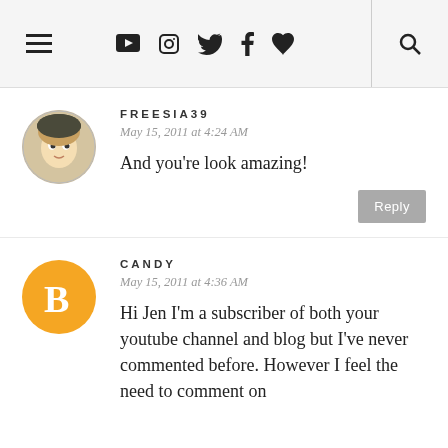Navigation bar with hamburger menu and social icons (YouTube, Instagram, Twitter, Facebook, heart, search)
FREESIA39
May 15, 2011 at 4:24 AM

And you're look amazing!
CANDY
May 15, 2011 at 4:36 AM

Hi Jen I'm a subscriber of both your youtube channel and blog but I've never commented before. However I feel the need to comment on